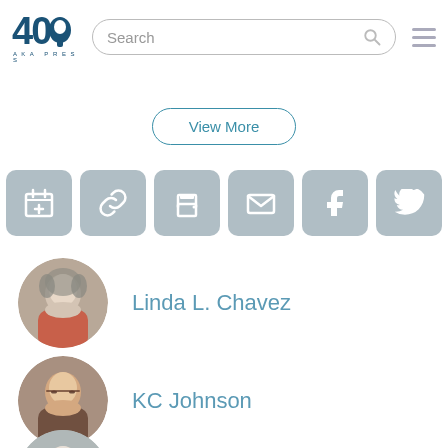40 | Search bar | Menu
View More
[Figure (infographic): Row of 6 action icon buttons: calendar/add, link, print, email, Facebook, Twitter — all with grey rounded-square backgrounds and white icons]
Linda L. Chavez
KC Johnson
Stuart S. Taylor